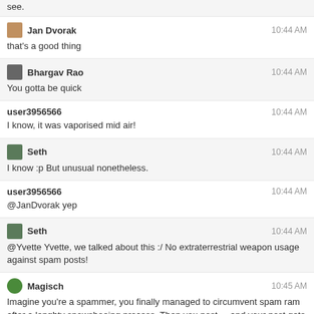see.
Jan Dvorak 10:44 AM
that's a good thing
Bhargav Rao 10:44 AM
You gotta be quick
user3956566 10:44 AM
I know, it was vaporised mid air!
Seth 10:44 AM
I know :p But unusual nonetheless.
user3956566 10:44 AM
@JanDvorak yep
Seth 10:44 AM
@Yvette Yvette, we talked about this :/ No extraterrestrial weapon usage against spam posts!
Magisch 10:45 AM
Imagine you're a spammer, you finally managed to circumvent spam ram after a lenghty snowshoeing process. Then you post ... and your post gets exactly 6 views within 10 seconds and all of these are spamflags
Get -> dunked
Jan Dvorak 10:45 AM
Timestamps say less than 45 seconds